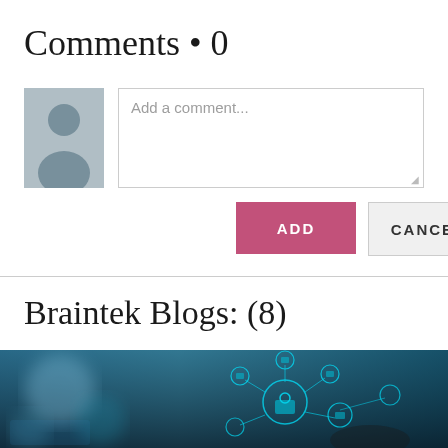Comments • 0
[Figure (illustration): Generic user avatar placeholder with grey silhouette on blue-grey background]
Add a comment...
ADD
CANCEL
Braintek Blogs: (8)
[Figure (photo): Technology cybersecurity image showing glowing network nodes with padlock icons, hands on keyboard in background, blue teal tones]